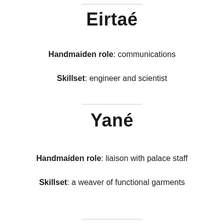Eirtaé
Handmaiden role: communications
Skillset: engineer and scientist
Yané
Handmaiden role: liaison with palace staff
Skillset: a weaver of functional garments